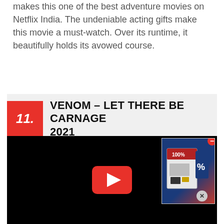makes this one of the best adventure movies on Netflix India. The undeniable acting gifts make this movie a must-watch. Over its runtime, it beautifully holds its avowed course.
11. VENOM – LET THERE BE CARNAGE 2021
[Figure (screenshot): YouTube video embed thumbnail (black background) with YouTube play button in center and an advertisement overlay on the right side]